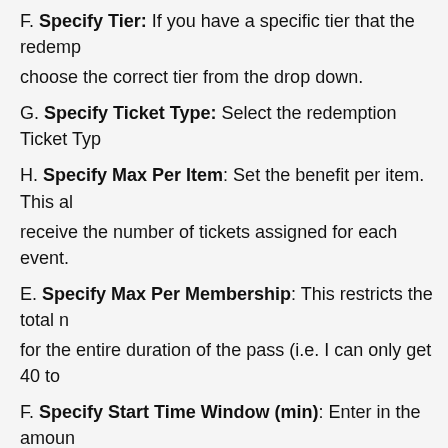F. Specify Tier: If you have a specific tier that the redemp... choose the correct tier from the drop down.
G. Specify Ticket Type: Select the redemption Ticket Typ...
H. Specify Max Per Item: Set the benefit per item. This al... receive the number of tickets assigned for each event.
E. Specify Max Per Membership: This restricts the total n... for the entire duration of the pass (i.e. I can only get 40 to...
F. Specify Start Time Window (min): Enter in the amoun... between showings. This prevents customers from using th... at the same time.
G. In the Brief Description, you can define the benefit the... enable them to see how many benefits they have left in th... will appear on the customer's My Benefits page in their o...